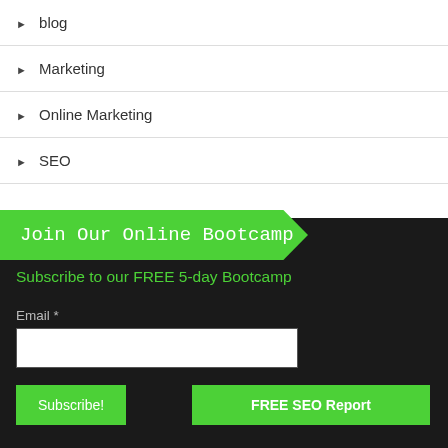▶ blog
▶ Marketing
▶ Online Marketing
▶ SEO
Join Our Online Bootcamp
Subscribe to our FREE 5-day Bootcamp
Email *
Subscribe!
FREE SEO Report